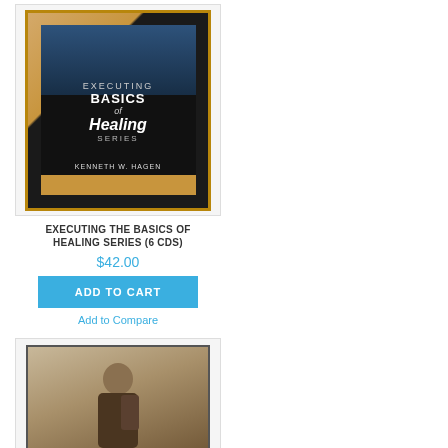[Figure (photo): Product image of 'Executing the Basics of Healing Series (6 CDs)' by Kenneth W. Hagen - CD set with dark cover featuring chalkboard imagery]
EXECUTING THE BASICS OF HEALING SERIES (6 CDS)
$42.00
ADD TO CART
Add to Compare
[Figure (photo): Product image of 'Faith Classics (6 CDs)' by Kenneth E. Hagin - CD set with photo of man speaking and blue band]
FAITH CLASSICS (6 CDS)
$42.00
ADD TO CART
Add to Compare
[Figure (photo): Partial product image at bottom left - CD set with golden/brown cover]
[Figure (photo): Partial product image at bottom right - CD set with dark cover]